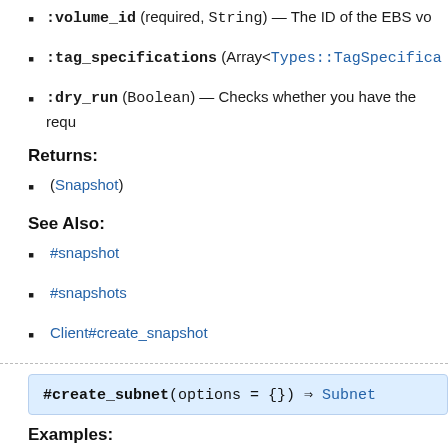:volume_id (required, String) — The ID of the EBS vo
:tag_specifications (Array<Types::TagSpecifica
:dry_run (Boolean) — Checks whether you have the requ
Returns:
(Snapshot)
See Also:
#snapshot
#snapshots
Client#create_snapshot
#create_subnet(options = {}) ⇒ Subnet
Examples:
▶ Request syntax example with placeholder values